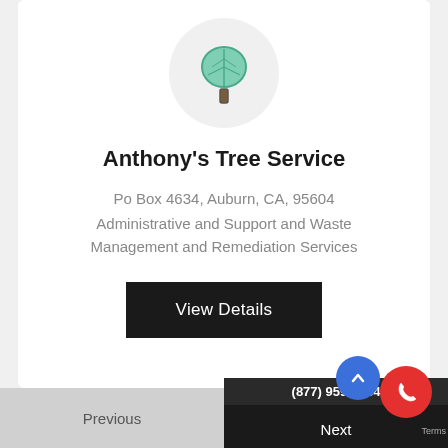[Figure (logo): Tree icon with teal/green color inside a light gray circle]
Anthony's Tree Service
Po Box 4634, Auburn, CA, 95604
Administrative and Support and Waste Management and Remediation Services
View Details
Previous
(877) 959-3534
Next